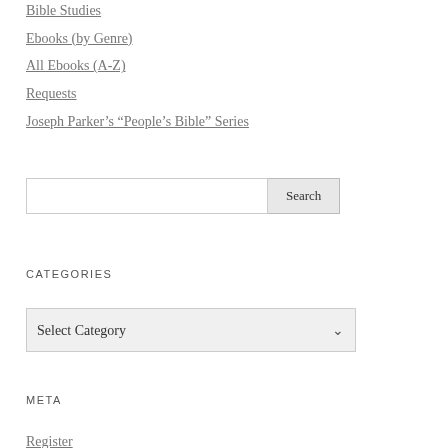Bible Studies
Ebooks (by Genre)
All Ebooks (A-Z)
Requests
Joseph Parker’s “People’s Bible” Series
Search
CATEGORIES
Select Category
META
Register